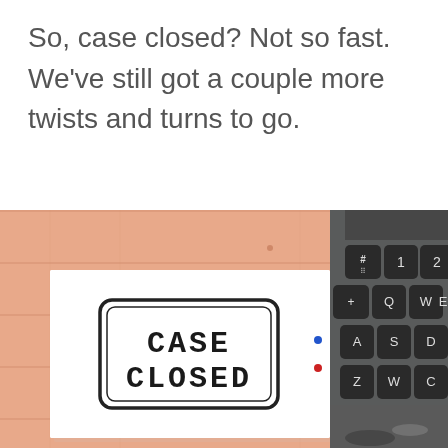So, case closed? Not so fast. We've still got a couple more twists and turns to go.
[Figure (photo): A wooden desk surface with a white paper stamped 'CASE CLOSED' in bold typewriter font inside a rounded rectangle border, next to a vintage typewriter keyboard showing keys including #, 1, 2, 3, Q, W, E, R, A, S, D, F, Z, W, C.]